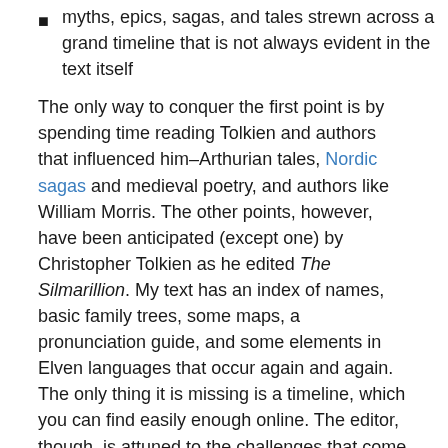myths, epics, sagas, and tales strewn across a grand timeline that is not always evident in the text itself
The only way to conquer the first point is by spending time reading Tolkien and authors that influenced him–Arthurian tales, Nordic sagas and medieval poetry, and authors like William Morris. The other points, however, have been anticipated (except one) by Christopher Tolkien as he edited The Silmarillion. My text has an index of names, basic family trees, some maps, a pronunciation guide, and some elements in Elven languages that occur again and again. The only thing it is missing is a timeline, which you can find easily enough online. The editor, though, is attuned to the challenges that come for virgin readers.
[Figure (map): Partial view of a fantasy map showing the region labeled FORODWAITH with stylized terrain features, trees, and decorative border on aged parchment background]